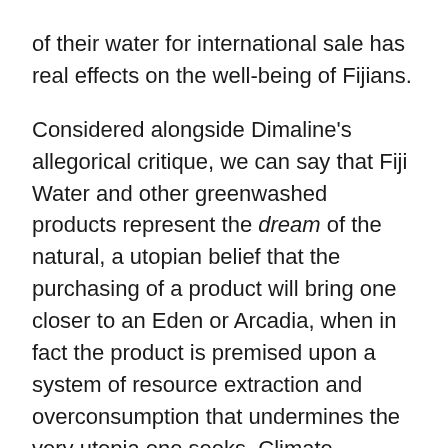of their water for international sale has real effects on the well-being of Fijians.
Considered alongside Dimaline's allegorical critique, we can say that Fiji Water and other greenwashed products represent the dream of the natural, a utopian belief that the purchasing of a product will bring one closer to an Eden or Arcadia, when in fact the product is premised upon a system of resource extraction and overconsumption that undermines the very utopia one seeks. Climate change, pollution, and environmental degradation disproportionately affect Black and Indigenous communities, as Dalhousie's own Ingrid Waldron has shown in her 2018 There's Something in the Water, and thus